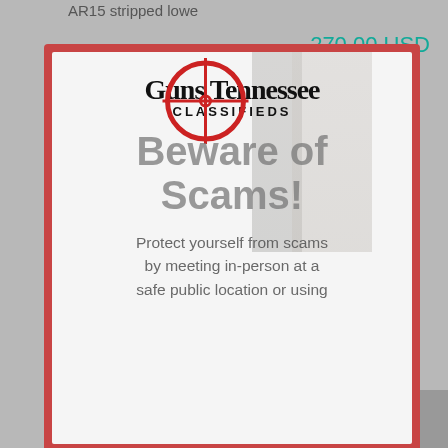AR15 stripped lowe
270.00 USD
4 days ago
[Figure (screenshot): Guns Tennessee Classifieds logo with red crosshair/scope overlay, Beware of Scams! warning modal with red border over a classifieds listing page. Background shows partial listing for Swiss Army Bayonet with Custom Leather Frog, tagged FOR SALE and NEW AD, location Blades - Clarksville, with description text about a Swiss Army Bayonet in near mint condition with 9.5 inch blade.]
Swiss Army Bayonet With Custom Leather Frog
FOR SALE
NEW AD
Blades · Clarksville
This Swiss Army Bayonet is in near mint ccondition. The blade measures 9.5" long. It is a double sided stainless stell b
Beware of Scams!
Protect yourself from scams by meeting in-person at a safe public location or using